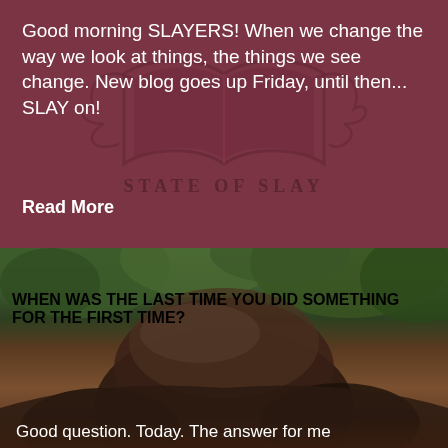Good morning SLAYERS! When we change the way we look at things, the things we see change. New blog goes up Friday, until then... SLAY on!
Read More
[Figure (logo): State of Slay logo — stylized book with wings/leaves motif and text STATE OF SLAY beneath, shown as watermark on dark maroon background]
[Figure (photo): Close-up photo of a person with dark hair, surrounded by green foliage/trees in the background]
WHEN WAS THE LAST TIME YOU DID SOMETHING FOR THE FIRST TIME?
Good question. Today. The answer for me